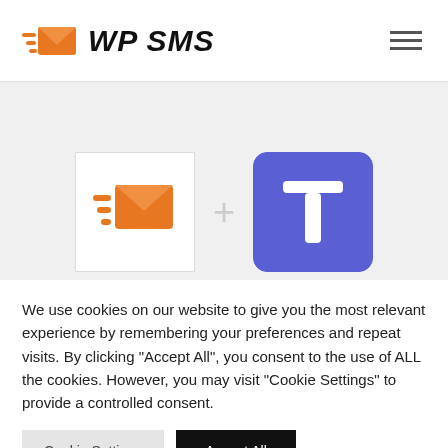WP SMS
[Figure (logo): WP SMS logo with orange flying envelope icon and hamburger menu icon on the right]
[Figure (illustration): WP SMS orange envelope logo box plus sign and blue T (Textbelt) logo box on grey background]
We use cookies on our website to give you the most relevant experience by remembering your preferences and repeat visits. By clicking "Accept All", you consent to the use of ALL the cookies. However, you may visit "Cookie Settings" to provide a controlled consent.
Cookie Settings
Accept All